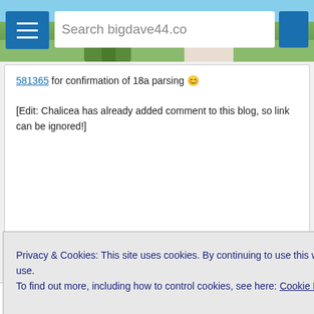Search bigdave44.co
581365 for confirmation of 18a parsing 😊
[Edit: Chalicea has already added comment to this blog, so link can be ignored!]
↩ Reply
7. Friar+Richard
June 7, 2022 at 2:42 pm
Privacy & Cookies: This site uses cookies. By continuing to use this website, you agree to their use.
To find out more, including how to control cookies, see here: Cookie Policy
Close and accept
↩ Reply